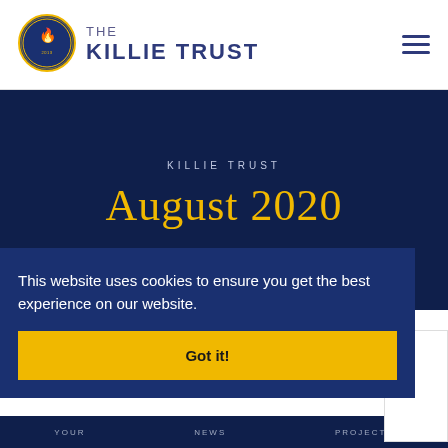[Figure (logo): The Killie Trust logo — circular badge with phoenix on left, text 'THE KILLIE TRUST' on right in blue/purple]
KILLIE TRUST
August 2020
This website uses cookies to ensure you get the best experience on our website.
Got it!
YOUR   NEWS   PROJECTS